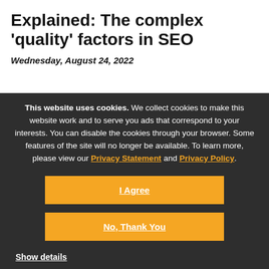Explained: The complex 'quality' factors in SEO
Wednesday, August 24, 2022
This website uses cookies. We collect cookies to make this website work and to serve you ads that correspond to your interests. You can disable the cookies through your browser. Some features of the site will no longer be available. To learn more, please view our Privacy Statement and Privacy Policy.
I Agree
No, Thank You
Show details